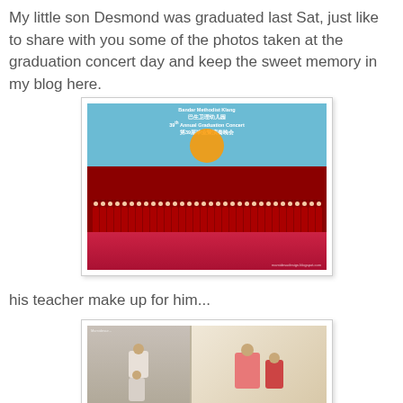My little son Desmond was graduated last Sat, just like to share with you some of the photos taken at the graduation concert day and keep the sweet memory in my blog here.
[Figure (photo): Group photo of children in red graduation gowns and caps on a stage at the 39th Annual Graduation Concert, with a colorful illustrated backdrop.]
his teacher make up for him...
[Figure (photo): Two-panel photo: left shows children sitting, right shows a teacher in pink applying makeup to a child in red.]